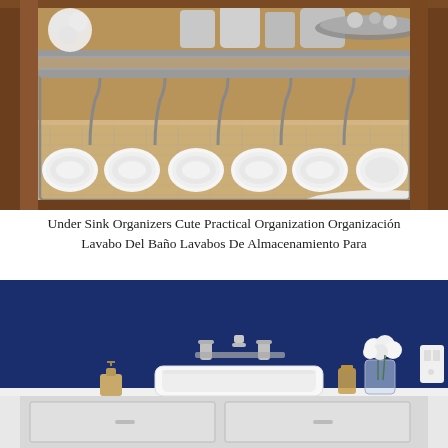[Figure (photo): Under-sink cabinet open showing rolled white towels stored vertically in a metal wire organizer/rack on the bottom shelf, and beauty/personal care products on an upper shelf. The cabinet has dark wood panels. A fluffy white rug is visible at the bottom right.]
Under Sink Organizers Cute Practical Organization Organización Lavabo Del Baño Lavabos De Almacenamiento Para
[Figure (photo): Modern bathroom vanity with a white rectangular vessel sink on a white countertop. The wall behind is dark navy blue. A chrome wall-mounted faucet is visible above. On the right side of the counter are a perfume bottle, a glass vase with white flowers, and a wall outlet. On the left is a soap/lotion dispenser.]